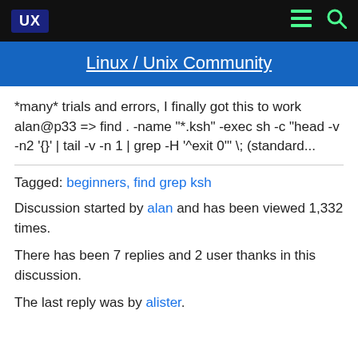UX  [menu] [search]
Linux / Unix Community
*many* trials and errors, I finally got this to work alan@p33 => find . -name "*.ksh" -exec sh -c "head -v -n2 '{}' | tail -v -n 1 | grep -H '^exit 0'" \; (standard...
Tagged: beginners, find grep ksh
Discussion started by alan and has been viewed 1,332 times.
There has been 7 replies and 2 user thanks in this discussion.
The last reply was by alister.